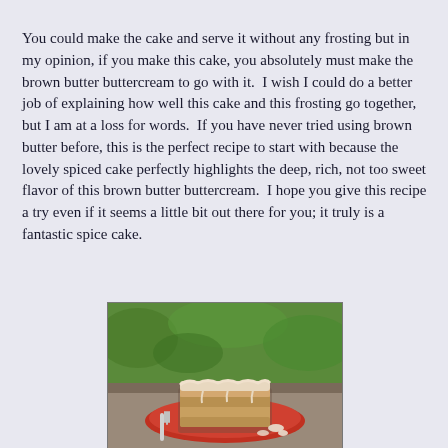You could make the cake and serve it without any frosting but in my opinion, if you make this cake, you absolutely must make the brown butter buttercream to go with it.  I wish I could do a better job of explaining how well this cake and this frosting go together, but I am at a loss for words.  If you have never tried using brown butter before, this is the perfect recipe to start with because the lovely spiced cake perfectly highlights the deep, rich, not too sweet flavor of this brown butter buttercream.  I hope you give this recipe a try even if it seems a little bit out there for you; it truly is a fantastic spice cake.
[Figure (photo): A slice of spice cake with brown butter buttercream frosting on a red plate with a fork, photographed outdoors with green background.]